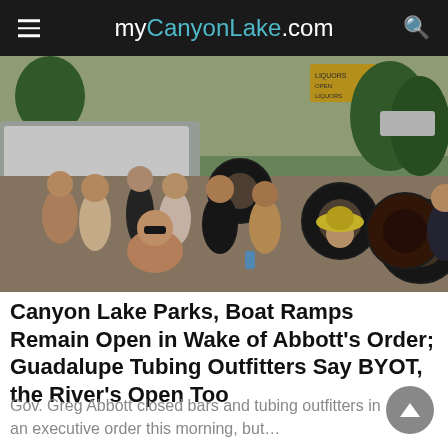myCanyonLake.com
[Figure (photo): Crowd of people in swimsuits with inner tubes on a sunny day outdoors near a street, with a Liquors sign visible in the background.]
Canyon Lake Parks, Boat Ramps Remain Open in Wake of Abbott's Order; Guadalupe Tubing Outfitters Say BYOT, the River's Open Too
Gov. Greg Abbott closed bars and tubing outfitters in an executive order this morning, but…